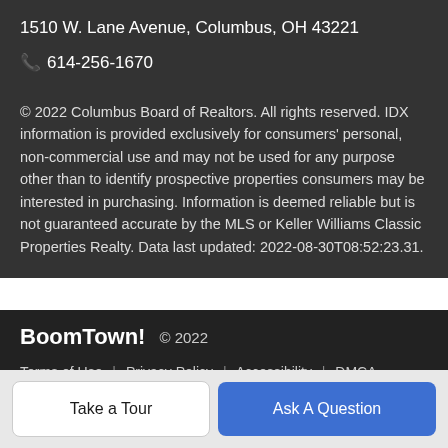1510 W. Lane Avenue, Columbus, OH 43221
📞 614-256-1670
© 2022 Columbus Board of Realtors. All rights reserved. IDX information is provided exclusively for consumers' personal, non-commercial use and may not be used for any purpose other than to identify prospective properties consumers may be interested in purchasing. Information is deemed reliable but is not guaranteed accurate by the MLS or Keller Williams Classic Properties Realty. Data last updated: 2022-08-30T08:52:23.31.
BoomTown! © 2022 | Terms of Use | Privacy Policy | Accessibility | DMCA | Listings Sitemap
Take a Tour
Ask A Question